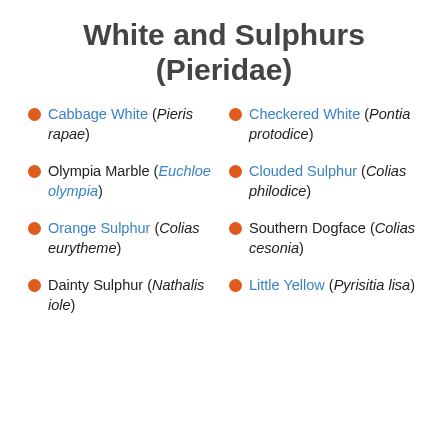White and Sulphurs (Pieridae)
Cabbage White (Pieris rapae)
Checkered White (Pontia protodice)
Olympia Marble (Euchloe olympia)
Clouded Sulphur (Colias philodice)
Orange Sulphur (Colias eurytheme)
Southern Dogface (Colias cesonia)
Dainty Sulphur (Nathalis iole)
Little Yellow (Pyrisitia lisa)